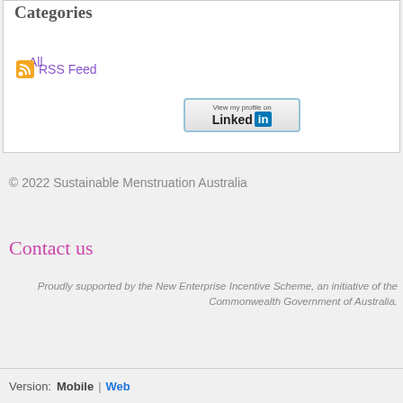Categories
All
RSS Feed
[Figure (other): LinkedIn 'View my profile on LinkedIn' badge button]
© 2022 Sustainable Menstruation Australia
Contact us
Proudly supported by the New Enterprise Incentive Scheme, an initiative of the Commonwealth Government of Australia.
Version: Mobile | Web